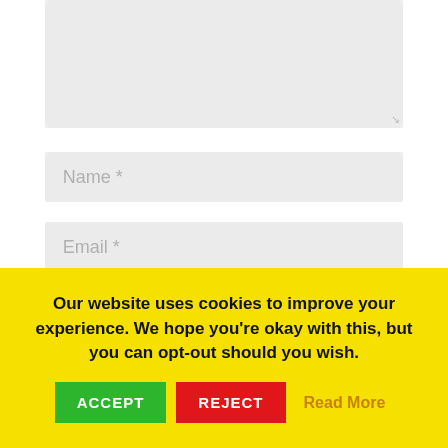[Figure (screenshot): A large light grey textarea form field (comment box) with a resize handle in the bottom-right corner.]
Name *
Email *
Website
Our website uses cookies to improve your experience. We hope you're okay with this, but you can opt-out should you wish.
ACCEPT
REJECT
Read More